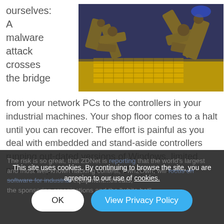ourselves: A malware attack crosses the bridge from your network PCs to the controllers in your industrial machines. Your shop floor comes to a halt until you can recover. The effort is painful as you deal with embedded and stand-aside controllers running out-dated versions of Windows, limited network options, and compatibility issues.
[Figure (photo): Yellow industrial robotic arms on a factory floor with conveyor belt]
The risk is so great, that ZDNet is reporting that the world's largest and most well-known hacking contest, Pwn2Own, will focus on software for industrial equipment...threats, the sponsoring organizations and the 'white hat'
This site uses cookies. By continuing to browse the site, you are agreeing to our use of cookies.